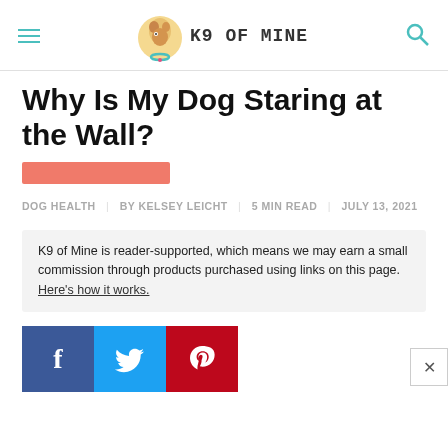K9 OF MINE
Why Is My Dog Staring at the Wall?
DOG HEALTH | BY KELSEY LEICHT | 5 MIN READ | JULY 13, 2021
K9 of Mine is reader-supported, which means we may earn a small commission through products purchased using links on this page. Here's how it works.
[Figure (other): Social share buttons: Facebook, Twitter, Pinterest]